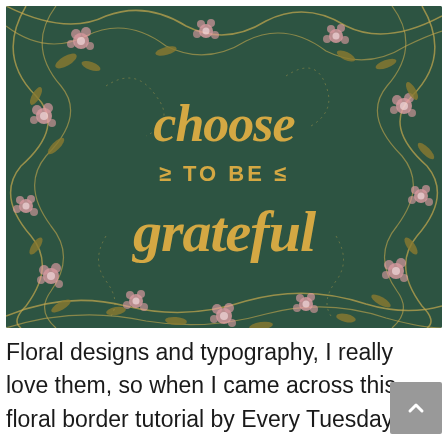[Figure (illustration): Dark green square illustration with decorative pink and gold floral/botanical border surrounding center text 'choose TO BE grateful' in gold script and lettering]
Floral designs and typography, I really love them, so when I came across this floral border tutorial by Every Tuesday, I